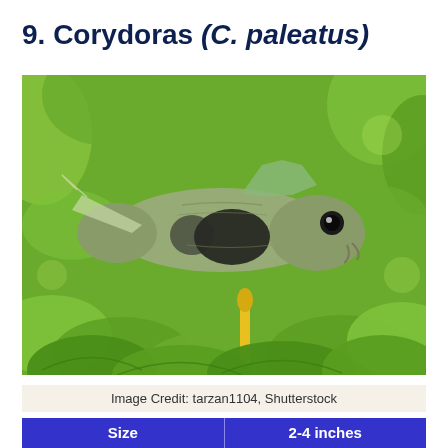9. Corydoras (C. paleatus)
[Figure (photo): Close-up photo of a Corydoras paleatus fish swimming among green aquatic plants. The fish has a mottled brown and black pattern with a distinctive dark blotch on its side and a visible eye.]
Image Credit: tarzan1104, Shutterstock
| Size | 2-4 inches |
| --- | --- |